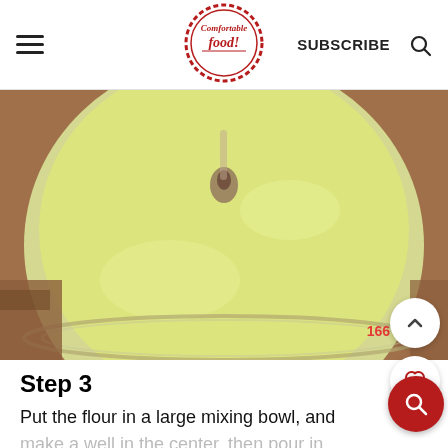Comfortable Food | SUBSCRIBE
[Figure (photo): Close-up overhead view of a large glass mixing bowl containing a pale yellow liquid mixture, with something being poured or mixed into the center, creating a small dark swirl. The bowl sits on a wooden surface.]
Step 3
Put the flour in a large mixing bowl, and make a well in the center, then pour in